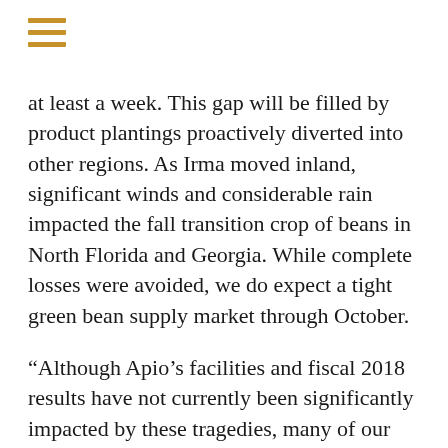at least a week. This gap will be filled by product plantings proactively diverted into other regions. As Irma moved inland, significant winds and considerable rain impacted the fall transition crop of beans in North Florida and Georgia. While complete losses were avoided, we do expect a tight green bean supply market through October.
“Although Apio’s facilities and fiscal 2018 results have not currently been significantly impacted by these tragedies, many of our employees have family members and friends who have been deeply affected,” said Molly Hemmeter, Landec’s President and CEO. “Our hearts and prayers go out to our employees, their families and all those